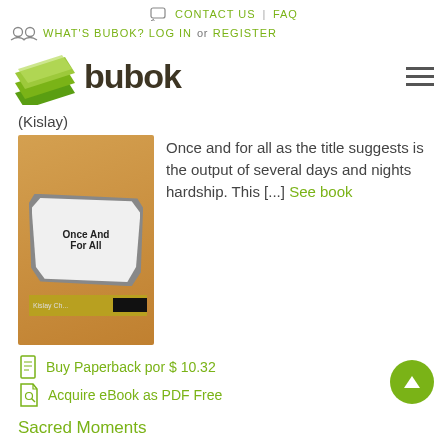CONTACT US | FAQ
WHAT'S BUBOK? LOG IN or REGISTER
[Figure (logo): Bubok logo with green stacked books icon and dark brown 'bubok' text]
(Kislay)
[Figure (photo): Book cover for 'Once And For All' showing a torn brown envelope revealing the title on gray background, with 'Kislay' author name at bottom]
Once and for all as the title suggests is the output of several days and nights hardship. This [...] See book
Buy Paperback por $ 10.32
Acquire eBook as PDF Free
Sacred Moments